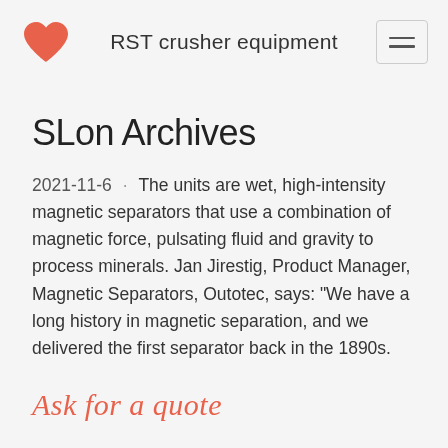RST crusher equipment
SLon Archives
2021-11-6 · The units are wet, high-intensity magnetic separators that use a combination of magnetic force, pulsating fluid and gravity to process minerals. Jan Jirestig, Product Manager, Magnetic Separators, Outotec, says: "We have a long history in magnetic separation, and we delivered the first separator back in the 1890s.
Ask for a quote